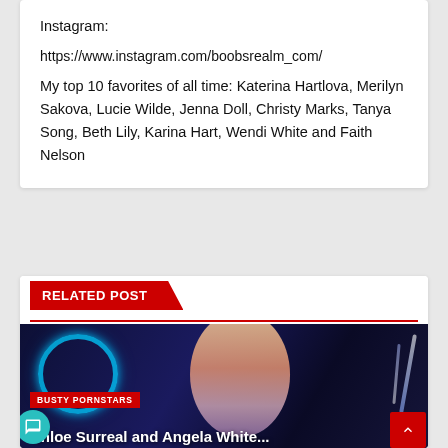Instagram:
https://www.instagram.com/boobsrealm_com/
My top 10 favorites of all time: Katerina Hartlova, Merilyn Sakova, Lucie Wilde, Jenna Doll, Christy Marks, Tanya Song, Beth Lily, Karina Hart, Wendi White and Faith Nelson
RELATED POST
[Figure (photo): Photo of a young blonde woman in a blue-lit room with neon decorations]
BUSTY PORNSTARS — Chloe Surreal and Angela White...